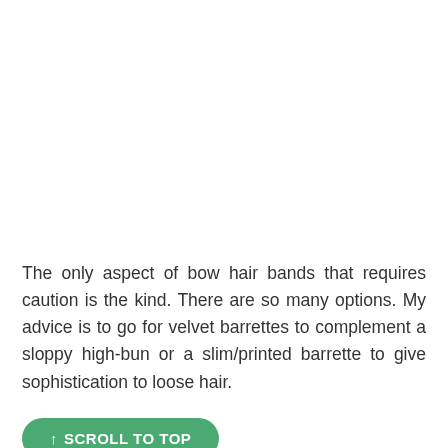The only aspect of bow hair bands that requires caution is the kind. There are so many options. My advice is to go for velvet barrettes to complement a sloppy high-bun or a slim/printed barrette to give sophistication to loose hair.
↑ SCROLL TO TOP